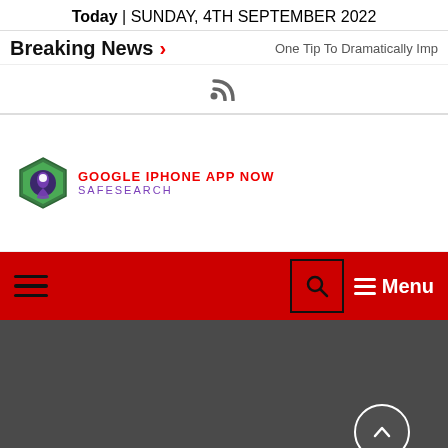Today | SUNDAY, 4TH SEPTEMBER 2022
Breaking News > One Tip To Dramatically Imp
[Figure (other): RSS feed icon]
[Figure (logo): Google iPhone App Now SafeSearch logo with hexagon icon]
Hamburger menu icon | Search icon | Menu